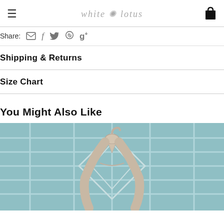white lotus (logo) — navigation header with hamburger menu and cart icon
Share: [email] [facebook] [twitter] [pinterest] [google+]
Shipping & Returns
Size Chart
You Might Also Like
[Figure (photo): Product lifestyle photo showing hanging robe or towel on a teal/blue tiled bathroom wall with diamond tile pattern]